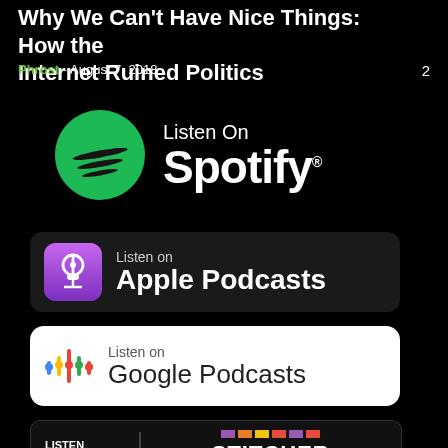Why We Can't Have Nice Things: How the Internet Ruined Politics
Phrost - August 7, 2018   2
[Figure (logo): Listen on Spotify badge with Spotify green circle logo]
[Figure (logo): Listen on Apple Podcasts badge with purple podcast icon]
[Figure (logo): Listen on Google Podcasts badge with colorful microphone icon on white background]
[Figure (logo): Listen on Stitcher badge with Stitcher colorful block logo]